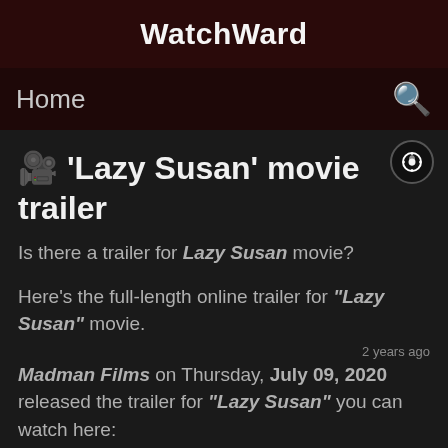WatchWard
Home
🎬 'Lazy Susan' movie trailer
Is there a trailer for Lazy Susan movie?
Here's the full-length online trailer for "Lazy Susan" movie.
2 years ago
Madman Films on Thursday, July 09, 2020 released the trailer for "Lazy Susan" you can watch here: